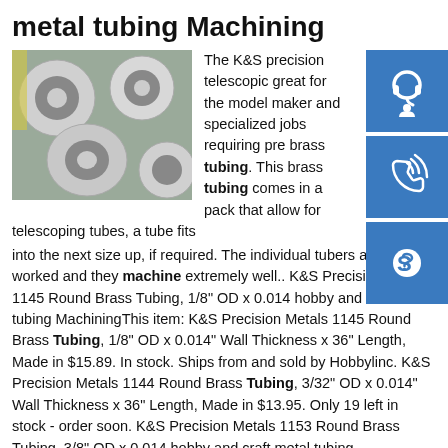metal tubing Machining
[Figure (photo): Stacked rolls of white/silver metal tubing]
The K&S precision telescopic great for the model maker and specialized jobs requiring pre brass tubing. This brass tubing comes in a pack that allow for telescoping tubes, a tube fits into the next size up, if required. The individual tubers are easily worked and they machine extremely well.. K&S Precision Metals 1145 Round Brass Tubing, 1/8" OD x 0.014 hobby and craft metal tubing MachiningThis item: K&S Precision Metals 1145 Round Brass Tubing, 1/8" OD x 0.014" Wall Thickness x 36" Length, Made in $15.89. In stock. Ships from and sold by Hobbylinc. K&S Precision Metals 1144 Round Brass Tubing, 3/32" OD x 0.014" Wall Thickness x 36" Length, Made in $13.95. Only 19 left in stock - order soon. K&S Precision Metals 1153 Round Brass Tubing, 3/8" OD x 0.014 hobby and craft metal tubing MachiningK&S Precision Metals 1153 Round Brass Tubing, 3/8" OD x 0.014" Wall Thickness x 36" Length, Made in USA, pack of 3: Metal Industrial Wall Tubing: Amazon hobby and